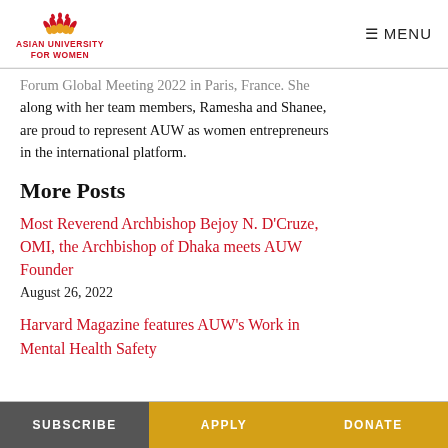ASIAN UNIVERSITY FOR WOMEN | MENU
Forum Global Meeting 2022 in Paris, France. She along with her team members, Ramesha and Shanee, are proud to represent AUW as women entrepreneurs in the international platform.
More Posts
Most Reverend Archbishop Bejoy N. D'Cruze, OMI, the Archbishop of Dhaka meets AUW Founder
August 26, 2022
Harvard Magazine features AUW's Work in Mental Health Safety
SUBSCRIBE   APPLY   DONATE